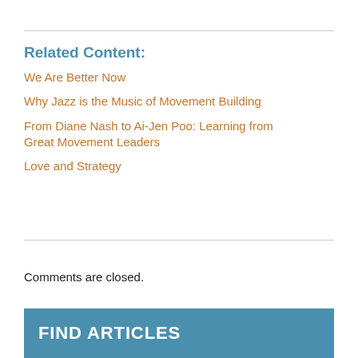Related Content:
We Are Better Now
Why Jazz is the Music of Movement Building
From Diane Nash to Ai-Jen Poo: Learning from Great Movement Leaders
Love and Strategy
Comments are closed.
FIND ARTICLES